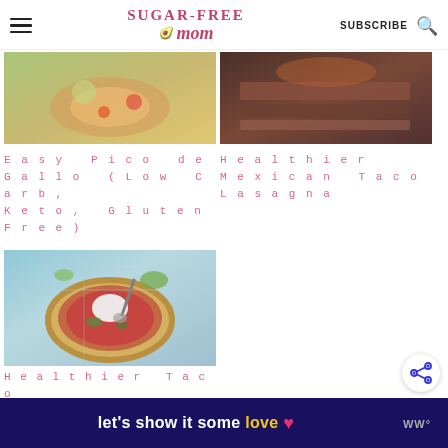Sugar-Free Mom | SUBSCRIBE
[Figure (photo): Food photo - Easy Pico de Gallo]
Easy Pico de Gallo (Low Carb, Keto, Gluten Free)
[Figure (photo): Food photo - Healthier Mexican Taco Lasagna]
Healthier Mexican Taco Lasagna
[Figure (photo): Food photo - Healthier Taco Salad with Salsa Dressing - bowl of salsa with sour cream]
Healthier Taco Salad with Salsa Dressing
[Figure (photo): Food photo - bottom left recipe]
[Figure (photo): Food photo - bottom right recipe]
let's show it some love